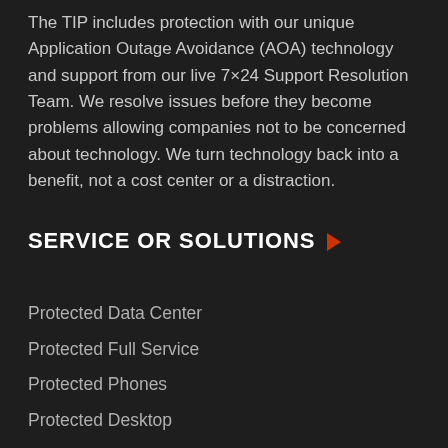The TIP includes protection with our unique Application Outage Avoidance (AOA) technology and support from our live 7×24 Support Resolution Team. We resolve issues before they become problems allowing companies not to be concerned about technology. We turn technology back into a benefit, not a cost center or a distraction.
SERVICE OR SOLUTIONS
Protected Data Center
Protected Full Service
Protected Phones
Protected Desktop
Protected Books
Medical Data Center